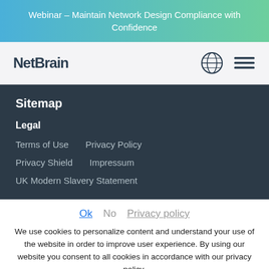Webinar – Maintain Network Design Compliance with Confidence
[Figure (logo): NetBrain logo with globe icon and hamburger menu]
Sitemap
Legal
Terms of Use
Privacy Policy
Privacy Shield
Impressum
UK Modern Slavery Statement
Ok   No   Privacy policy
We use cookies to personalize content and understand your use of the website in order to improve user experience. By using our website you consent to all cookies in accordance with our privacy policy.